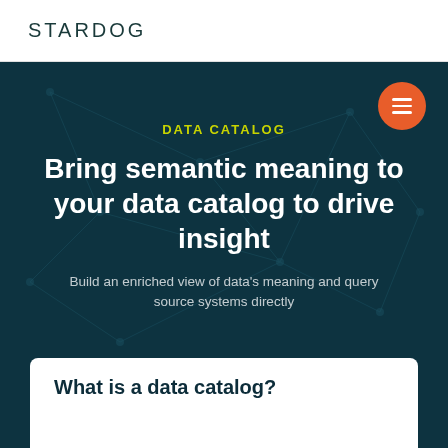STARDOG
DATA CATALOG
Bring semantic meaning to your data catalog to drive insight
Build an enriched view of data's meaning and query source systems directly
What is a data catalog?